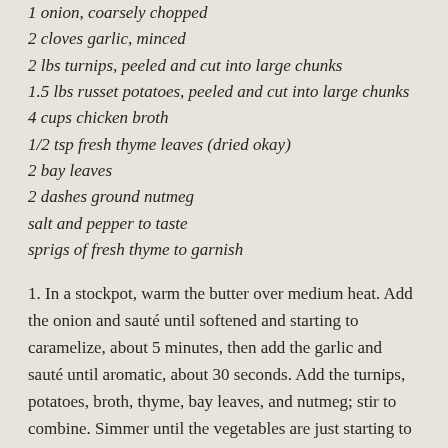1 onion, coarsely chopped
2 cloves garlic, minced
2 lbs turnips, peeled and cut into large chunks
1.5 lbs russet potatoes, peeled and cut into large chunks
4 cups chicken broth
1/2 tsp fresh thyme leaves (dried okay)
2 bay leaves
2 dashes ground nutmeg
salt and pepper to taste
sprigs of fresh thyme to garnish
1. In a stockpot, warm the butter over medium heat. Add the onion and sauté until softened and starting to caramelize, about 5 minutes, then add the garlic and sauté until aromatic, about 30 seconds. Add the turnips, potatoes, broth, thyme, bay leaves, and nutmeg; stir to combine. Simmer until the vegetables are just starting to fall apart, about 20 minutes, reducing heat if needed to maintain a steady but gentle simmer.
2. Fish out the bay leaves, then transfer to a blender and blend until smooth, in batches if needed